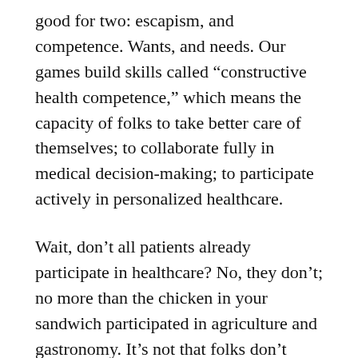good for two: escapism, and competence. Wants, and needs. Our games build skills called “constructive health competence,” which means the capacity of folks to take better care of themselves; to collaborate fully in medical decision-making; to participate actively in personalized healthcare.
Wait, don’t all patients already participate in healthcare? No, they don’t; no more than the chicken in your sandwich participated in agriculture and gastronomy. It’s not that folks don’t what to collaborate and participate, but they’re stymied: they don’t know how to begin or what to expect.